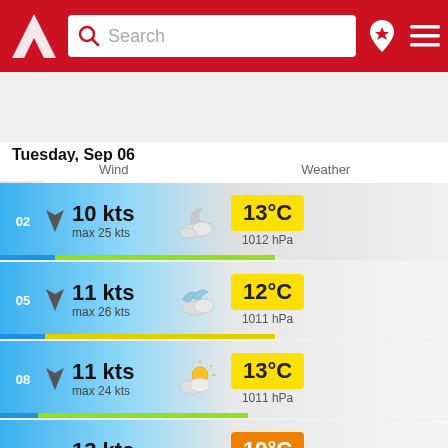[Figure (screenshot): App header with red background, white triangular logo, search bar with magnifying glass icon and 'Search' placeholder, location pin icon with star, and hamburger menu icon]
[Figure (line-chart): Timeline chart showing dates 6 through 15 with wind/wave lines in green, blue, cyan, and purple colors]
Tuesday, Sep 06
Wind   Weather
| Hour | Wind Speed | Max Wind | Weather Icon | Temperature | Pressure |
| --- | --- | --- | --- | --- | --- |
| 02 | 10 kts | max 25 kts | partly cloudy night | 13°C | 1012 hPa |
| 05 | 11 kts | max 26 kts | partly cloudy | 12°C | 1011 hPa |
| 08 | 11 kts | max 24 kts | partly sunny | 13°C | 1011 hPa |
| 11 | 13 kts | max 18 kts | overcast | 19°C | 1010 hPa |